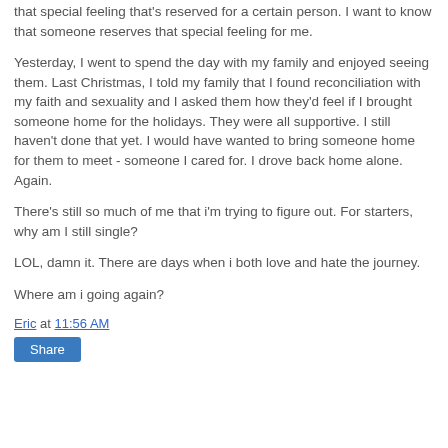that special feeling that's reserved for a certain person. I want to know that someone reserves that special feeling for me.
Yesterday, I went to spend the day with my family and enjoyed seeing them. Last Christmas, I told my family that I found reconciliation with my faith and sexuality and I asked them how they'd feel if I brought someone home for the holidays. They were all supportive. I still haven't done that yet. I would have wanted to bring someone home for them to meet - someone I cared for. I drove back home alone. Again.
There's still so much of me that i'm trying to figure out. For starters, why am I still single?
LOL, damn it. There are days when i both love and hate the journey.
Where am i going again?
Eric at 11:56 AM
Share